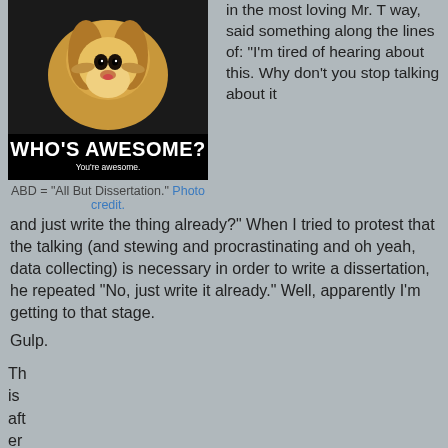[Figure (photo): Meme photo of a cute beagle puppy on black background with text 'WHO'S AWESOME?' and 'You're awesome.']
ABD = "All But Dissertation." Photo credit.
in the most loving Mr. T way, said something along the lines of: "I'm tired of hearing about this. Why don't you stop talking about it and just write the thing already?" When I tried to protest that the talking (and stewing and procrastinating and oh yeah, data collecting) is necessary in order to write a dissertation, he repeated "No, just write it already." Well, apparently I'm getting to that stage.
Gulp.
This after
[Figure (photo): Close-up photo of a letter that reads: 'To Whom It May Concern, This letter is to affirm that [name], a Ph.D. candidate, has passed her comprehensive exams, and as of today's date has been formally approved by her supervisory committee...']